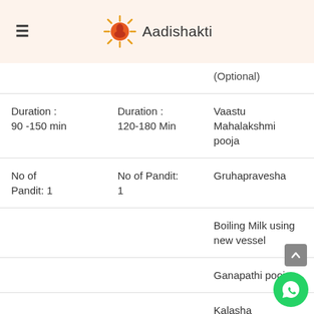Aadishakti
|  |  | (Optional) |
| Duration :
90 -150 min | Duration :
120-180 Min | Vaastu Mahalakshmi pooja |
| No of Pandit: 1 | No of Pandit:
1 | Gruhapravesha |
|  |  | Boiling Milk using new vessel |
|  |  | Ganapathi pooja |
|  |  | Kalasha Aaradhane |